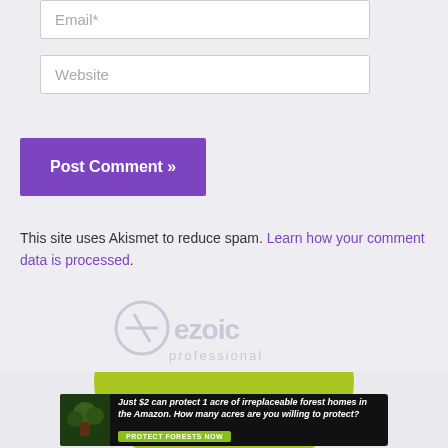Email*
Website
Post Comment »
This site uses Akismet to reduce spam. Learn how your comment data is processed.
[Figure (logo): Ezoic professional logo in white/light color on gray background]
[Figure (infographic): Green circle with white cursive text partially visible, advertisement banner below reading: Just $2 can protect 1 acre of irreplaceable forest homes in the Amazon. How many acres are you willing to protect? PROTECT FORESTS NOW]